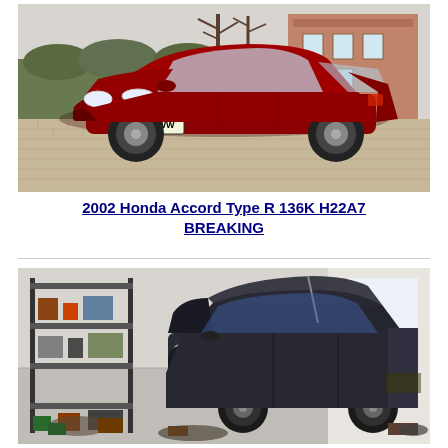[Figure (photo): Red 2002 Honda Accord Type R with license plate RF02 MWW, parked on a brick driveway in front of a hedge and brick building, viewed from the front-left angle.]
2002 Honda Accord Type R 136K H22A7 BREAKING
[Figure (photo): Dark-coloured Honda Accord being broken for parts inside a garage. The bonnet is open, parts are removed, and shelving with various items is visible on the left.]